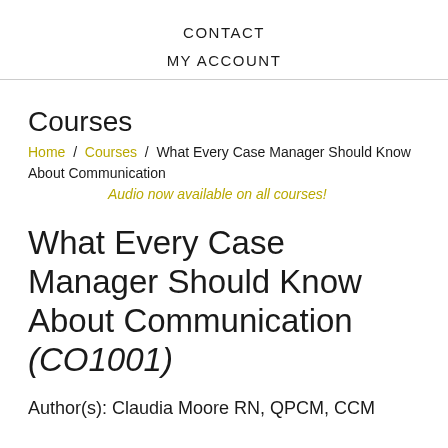CONTACT
MY ACCOUNT
Courses
Home / Courses / What Every Case Manager Should Know About Communication
Audio now available on all courses!
What Every Case Manager Should Know About Communication (CO1001)
Author(s): Claudia Moore RN, QPCM, CCM